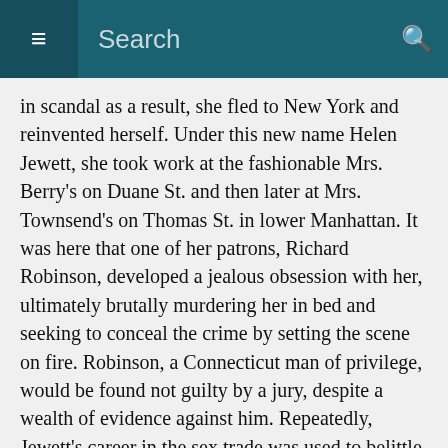≡  Search  🔍
in scandal as a result, she fled to New York and reinvented herself. Under this new name Helen Jewett, she took work at the fashionable Mrs. Berry's on Duane St. and then later at Mrs. Townsend's on Thomas St. in lower Manhattan. It was here that one of her patrons, Richard Robinson, developed a jealous obsession with her, ultimately brutally murdering her in bed and seeking to conceal the crime by setting the scene on fire. Robinson, a Connecticut man of privilege, would be found not guilty by a jury, despite a wealth of evidence against him. Repeatedly, Jewett's career in the sex trade was used to belittle and besmirch her, throwing doubt on her human value and questioning whether she deserved justice.
While the present depiction of Jewett's life and